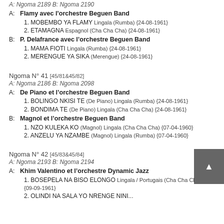A: Ngoma 2189 B: Ngoma 2190
A: Flamy avec l'orchestre Beguen Band
1. MOBEMBO YA FLAMY Lingala (Rumba) {24-08-1961}
2. ETAMAGNA Espagnol (Cha Cha Cha) {24-08-1961}
B: P. Delafrance avec l'orchestre Beguen Band
1. MAMA FIOTI Lingala (Rumba) {24-08-1961}
2. MERENGUE YA SIKA (Merengue) {24-08-1961}
Ngoma N° 41 [45/81&45/82]
A: Ngoma 2186 B: Ngoma 2098
A: De Piano et l'orchestre Beguen Band
1. BOLINGO NKISI TE (De Piano) Lingala (Rumba) {24-08-1961}
2. BONDIMA TE (De Piano) Lingala (Cha Cha Cha) {24-08-1961}
B: Magnol et l'orchestre Beguen Band
1. NZO KULEKA KO (Magnol) Lingala (Cha Cha Cha) {07-04-1960}
2. ANZELU YA NZAMBE (Magnol) Lingala (Rumba) {07-04-1960}
Ngoma N° 42 [45/83&45/84]
A: Ngoma 2193 B: Ngoma 2194
A: Khim Valentino et l'orchestre Dynamic Jazz
1. BOSEPELA NA BISO ELONGO Lingala / Portugais (Cha Cha Cha) {09-09-1961}
2. OLINDI NA SALA YO NRENGE NINI...